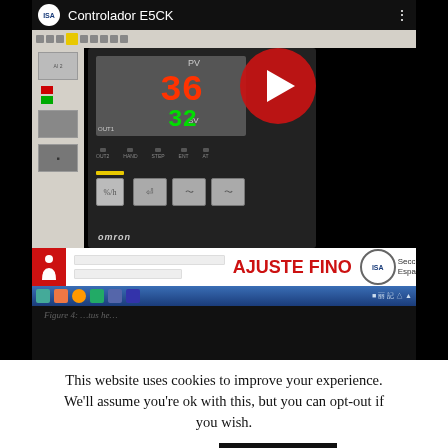[Figure (screenshot): YouTube video thumbnail showing an OMRON E5CK controller interface with 'Controlador E5CK' as title, displaying PV value 36 in red and SV value 32 in green, with AJUSTE FINO label and YouTube play button overlay. Below is a Windows taskbar and black content area.]
This website uses cookies to improve your experience. We'll assume you're ok with this, but you can opt-out if you wish.
Cookie settings
ACCEPT